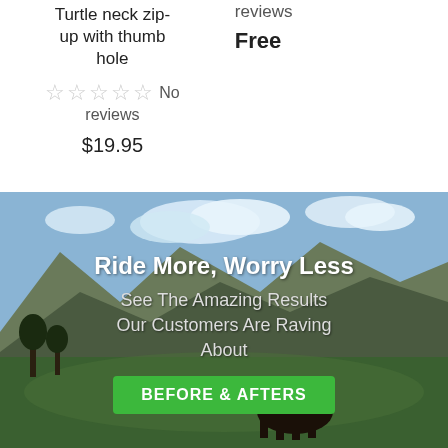Turtle neck zip-up with thumb hole
☆☆☆☆☆ No reviews
$19.95
reviews
Free
[Figure (photo): Person riding a dark horse in a green field with mountains and blue sky in the background. Overlaid text reads 'Ride More, Worry Less', 'See The Amazing Results Our Customers Are Raving About', and a green 'BEFORE & AFTERS' button.]
Ride More, Worry Less
See The Amazing Results Our Customers Are Raving About
BEFORE & AFTERS